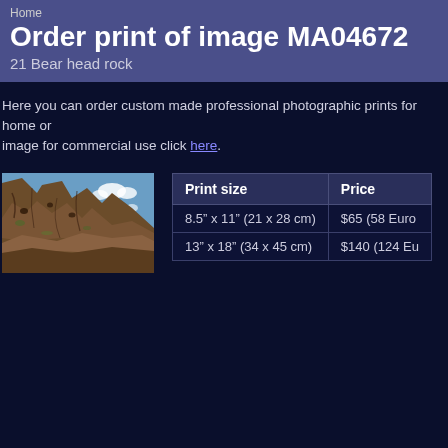Home
Order print of image MA04672
21 Bear head rock
Here you can order custom made professional photographic prints for home or image for commercial use click here.
[Figure (photo): Photo of a rocky cliff face (Bear head rock) with blue sky visible in the background]
| Print size | Price |
| --- | --- |
| 8.5” x 11” (21 x 28 cm) | $65 (58 Euro |
| 13” x 18” (34 x 45 cm) | $140 (124 Eu |